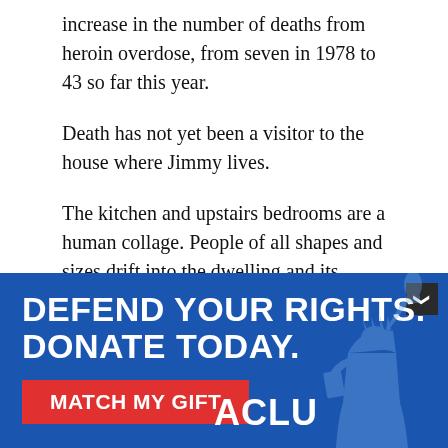increase in the number of deaths from heroin overdose, from seven in 1978 to 43 so far this year.
Death has not yet been a visitor to the house where Jimmy lives.
The kitchen and upstairs bedrooms are a human collage. People of all shapes and sizes drift into the dwelling and its various rooms, some jittery, uptight and anxious for a fix, others calm and serene after they finally "get off."
A fat woman wearing a white uniform and blond wig
[Figure (infographic): ACLU advertisement banner with blue background. Text reads: DEFEND YOUR RIGHTS. DONATE TODAY. with a red MATCH MY GIFT button and ACLU logo. Statue of Liberty torch graphic on the right side.]